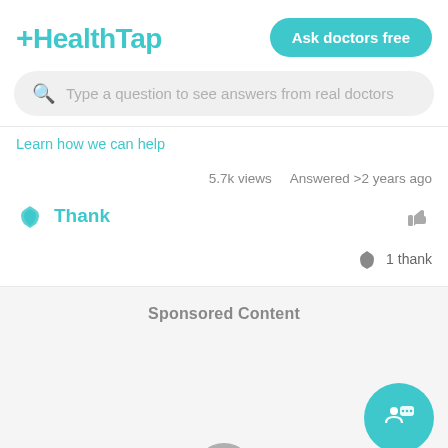[Figure (logo): HealthTap logo in teal/cyan color with a plus sign]
[Figure (screenshot): Ask doctors free button - teal rounded rectangle]
Type a question to see answers from real doctors
Learn how we can help
5.7k views   Answered >2 years ago
Thank
1 thank
Sponsored Content
[Figure (illustration): Teal circular chat/doctor FAB button with people and speech bubble icon. Partial gray circle at bottom center of sponsored content area.]